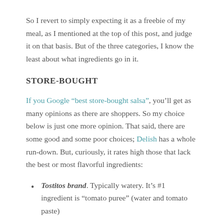So I revert to simply expecting it as a freebie of my meal, as I mentioned at the top of this post, and judge it on that basis. But of the three categories, I know the least about what ingredients go in it.
STORE-BOUGHT
If you Google “best store-bought salsa,” you’ll get as many opinions as there are shoppers. So my choice below is just one more opinion. That said, there are some good and some poor choices; Delish has a whole run-down. But, curiously, it rates high those that lack the best or most flavorful ingredients:
Tostitos brand. Typically watery. It’s #1 ingredient is “tomato puree” (water and tomato paste)